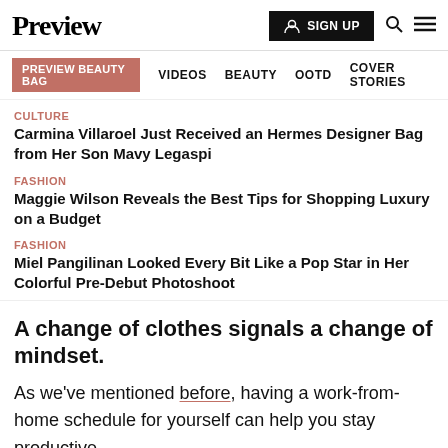Preview | SIGN UP | Search | Menu
PREVIEW BEAUTY BAG  VIDEOS  BEAUTY  OOTD  COVER STORIES
CULTURE
Carmina Villaroel Just Received an Hermes Designer Bag from Her Son Mavy Legaspi
FASHION
Maggie Wilson Reveals the Best Tips for Shopping Luxury on a Budget
FASHION
Miel Pangilinan Looked Every Bit Like a Pop Star in Her Colorful Pre-Debut Photoshoot
A change of clothes signals a change of mindset.
As we've mentioned before, having a work-from-home schedule for yourself can help you stay productive.